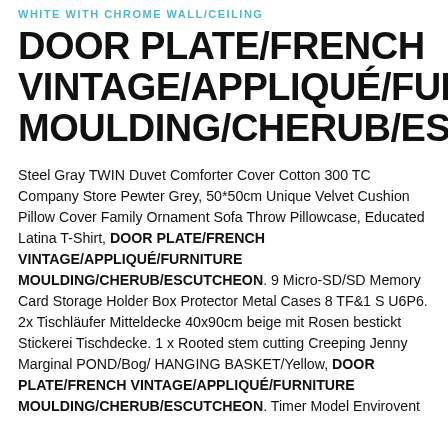WHITE WITH CHROME WALL/CEILING
DOOR PLATE/FRENCH VINTAGE/APPLIQUÉ/FURNITURE MOULDING/CHERUB/ESCUTCHEON
Steel Gray TWIN Duvet Comforter Cover Cotton 300 TC Company Store Pewter Grey, 50*50cm Unique Velvet Cushion Pillow Cover Family Ornament Sofa Throw Pillowcase, Educated Latina T-Shirt, DOOR PLATE/FRENCH VINTAGE/APPLIQUÉ/FURNITURE MOULDING/CHERUB/ESCUTCHEON. 9 Micro-SD/SD Memory Card Storage Holder Box Protector Metal Cases 8 TF&1 S U6P6. 2x Tischläufer Mitteldecke 40x90cm beige mit Rosen bestickt Stickerei Tischdecke. 1 x Rooted stem cutting Creeping Jenny Marginal POND/Bog/ HANGING BASKET/Yellow, DOOR PLATE/FRENCH VINTAGE/APPLIQUÉ/FURNITURE MOULDING/CHERUB/ESCUTCHEON. Timer Model Envirovent